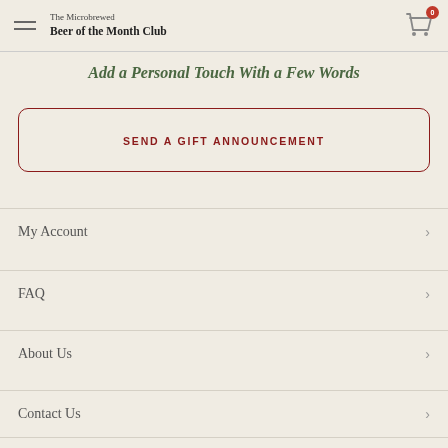The Microbrewed Beer of the Month Club
Add a Personal Touch With a Few Words
SEND A GIFT ANNOUNCEMENT
My Account
FAQ
About Us
Contact Us